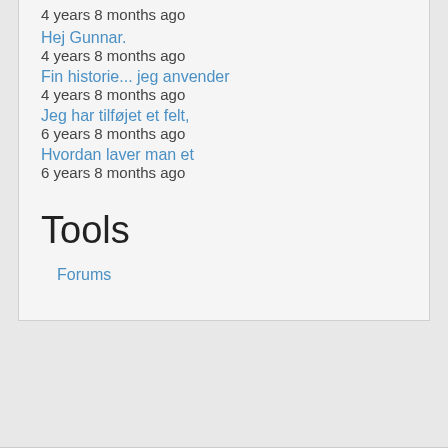4 years 8 months ago
Hej Gunnar.
4 years 8 months ago
Fin historie... jeg anvender
4 years 8 months ago
Jeg har tilføjet et felt,
6 years 8 months ago
Hvordan laver man et
6 years 8 months ago
Tools
Forums